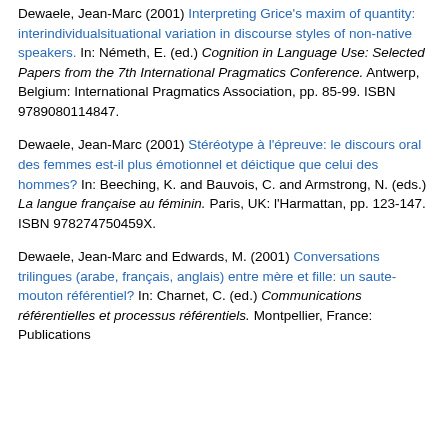Dewaele, Jean-Marc (2001) Interpreting Grice's maxim of quantity: interindividualsituational variation in discourse styles of non-native speakers. In: Németh, E. (ed.) Cognition in Language Use: Selected Papers from the 7th International Pragmatics Conference. Antwerp, Belgium: International Pragmatics Association, pp. 85-99. ISBN 9789080114847.
Dewaele, Jean-Marc (2001) Stéréotype à l'épreuve: le discours oral des femmes est-il plus émotionnel et déictique que celui des hommes? In: Beeching, K. and Bauvois, C. and Armstrong, N. (eds.) La langue française au féminin. Paris, UK: l'Harmattan, pp. 123-147. ISBN 978274750459X.
Dewaele, Jean-Marc and Edwards, M. (2001) Conversations trilingues (arabe, français, anglais) entre mère et fille: un saute-mouton référentiel? In: Charnet, C. (ed.) Communications référentielles et processus référentiels. Montpellier, France: Publications…